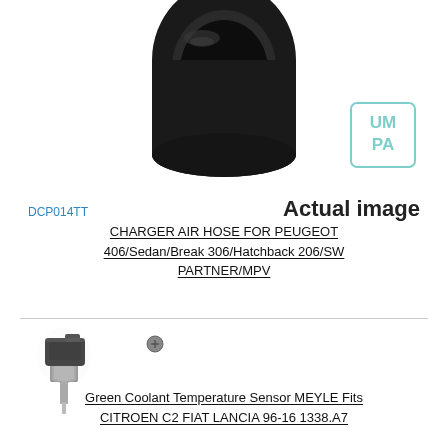[Figure (photo): Black rubber charger air hose tube, cylindrical, viewed from the top end, showing hollow interior]
[Figure (logo): UMPA brand logo in teal/mint color with square border, letters UM on top line, PA on bottom line]
DCP014TT
Actual image
CHARGER AIR HOSE FOR PEUGEOT 406/Sedan/Break 306/Hatchback 206/SW PARTNER/MPV
[Figure (photo): Green Coolant Temperature Sensor MEYLE, showing a metal sensor with threaded base and black electrical connector plug, plus a small screw nearby]
Green Coolant Temperature Sensor MEYLE Fits CITROEN C2 FIAT LANCIA 96-16 1338.A7